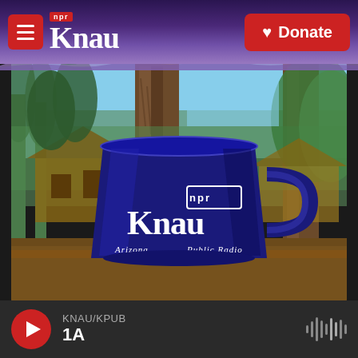KNAU NPR - Donate
[Figure (photo): A dark navy blue ceramic KNAU NPR mug with 'npr Knau Arizona Public Radio' branding, photographed outdoors in a ponderosa pine forest setting with a log cabin structure visible in the background.]
KNAU/KPUB
1A